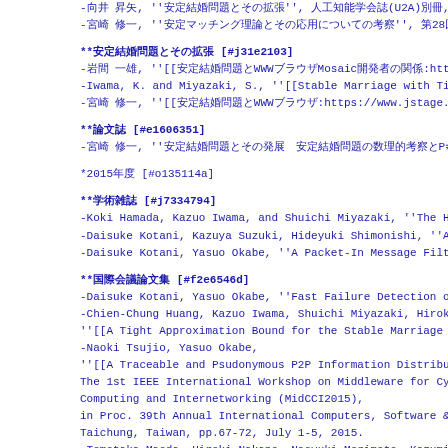-向井 昇矢, ''安定結婚問題とその拡張'', 人工知能学会誌(U2A)別冊, 2016年9月.
-宮崎 修一, ''安定マッチング理論とその応用についての考察'', 第28回全国大学コンピュータ...
**安定結婚問題とその拡張 [#j31e2103]
-岩間 一雄, ''[[安定結婚問題とWWWブラウザMosaic開発者の関係:https://www.jsta...
-Iwama, K. and Miyazaki, S., ''[[Stable Marriage with Ties...
-宮崎 修一, ''[[安定結婚問題とWWWブラウザ:https://www.jstage.jst.g...
**論文誌 [#e1606351]
-宮崎 修一, ''安定結婚問題とその発展　安定結婚問題の数理的考察とP≠NP予想について'', 数学の...
*2015年度 [#o135114a]
**学術雑誌 [#j7334794]
-Koki Hamada, Kazuo Iwama, and Shuichi Miyazaki, ''The Hosp...
-Daisuke Kotani, Kazuya Suzuki, Hideyuki Shimonishi, ''A Mu...
-Daisuke Kotani, Yasuo Okabe, ''A Packet-In Message Filteri...
**国際会議論文集 [#f2e6546d]
-Daisuke Kotani, Yasuo Okabe, ''Fast Failure Detection of O...
-Chien-Chung Huang, Kazuo Iwama, Shuichi Miyazaki, Hiroki Y...
''[[A Tight Approximation Bound for the Stable Marriage Pro...
-Naoki Tsujio, Yasuo Okabe,
''[[A Traceable and Psudonymous P2P Information Distributio...
The 1st IEEE International Workshop on Middleware for Cyber...
Computing and Internetworking (MidCCI2015),
in Proc. 39th Annual International Computers, Software & Ap...
Taichung, Taiwan, pp.67-72, July 1-5, 2015.
-Tomotaka Maeda, Hiroki Nakano, Naoyuki Morimoto, Kazumi Sa...
''[[Design and Implementation of an On-demand Home Power M...